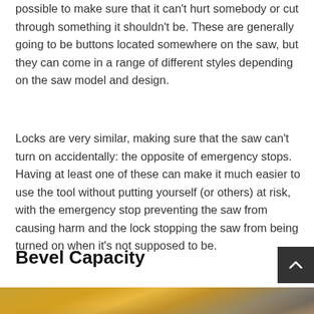possible to make sure that it can't hurt somebody or cut through something it shouldn't be. These are generally going to be buttons located somewhere on the saw, but they can come in a range of different styles depending on the saw model and design.
Locks are very similar, making sure that the saw can't turn on accidentally: the opposite of emergency stops. Having at least one of these can make it much easier to use the tool without putting yourself (or others) at risk, with the emergency stop preventing the saw from causing harm and the lock stopping the saw from being turned on when it's not supposed to be.
Bevel Capacity
[Figure (photo): Close-up photo of a yellow and grey circular saw (DeWalt style) on a wooden surface]